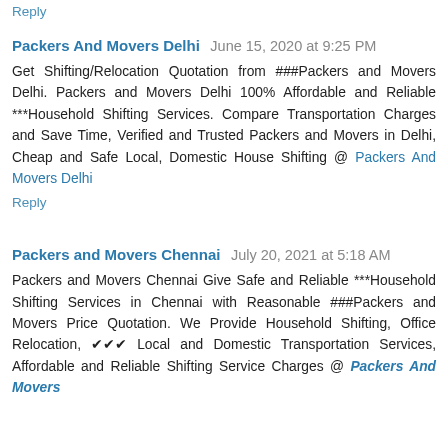Reply
Packers And Movers Delhi   June 15, 2020 at 9:25 PM
Get Shifting/Relocation Quotation from ###Packers and Movers Delhi. Packers and Movers Delhi 100% Affordable and Reliable ***Household Shifting Services. Compare Transportation Charges and Save Time, Verified and Trusted Packers and Movers in Delhi, Cheap and Safe Local, Domestic House Shifting @ Packers And Movers Delhi
Reply
Packers and Movers Chennai   July 20, 2021 at 5:18 AM
Packers and Movers Chennai Give Safe and Reliable ***Household Shifting Services in Chennai with Reasonable ###Packers and Movers Price Quotation. We Provide Household Shifting, Office Relocation, ✔✔✔ Local and Domestic Transportation Services, Affordable and Reliable Shifting Service Charges @ Packers And Movers